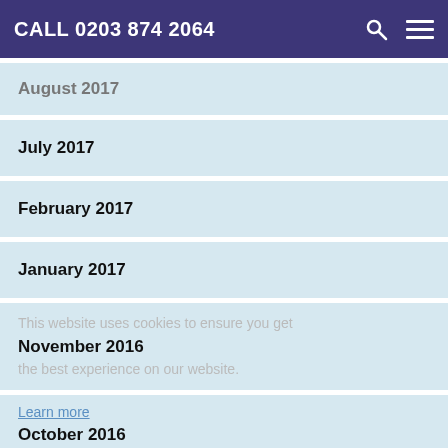CALL 0203 874 2064
August 2017
July 2017
February 2017
January 2017
This website uses cookies to ensure you get the best experience on our website.
November 2016
Learn more
October 2016
Accept
September 2016